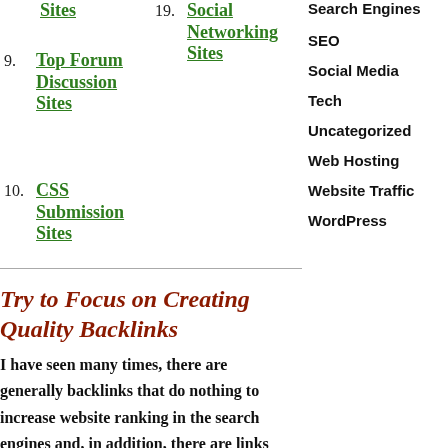Sites (item 8 continued)
19. Social Networking Sites
9. Top Forum Discussion Sites
10. CSS Submission Sites
Search Engines
SEO
Social Media
Tech
Uncategorized
Web Hosting
Website Traffic
WordPress
Try to Focus on Creating Quality Backlinks
I have seen many times, there are generally backlinks that do nothing to increase website ranking in the search engines and, in addition, there are links that are going to shoot anyone